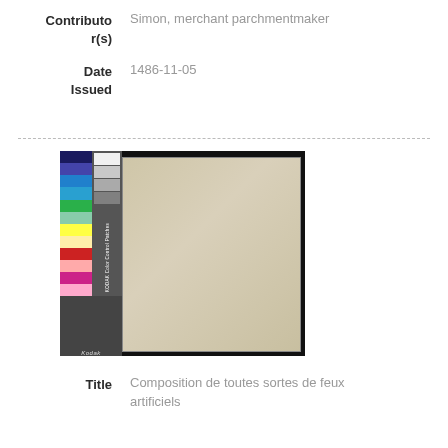| Field | Value |
| --- | --- |
| Contributor(s) | Simon, merchant parchmentmaker |
| Date Issued | 1486-11-05 |
[Figure (photo): Photograph of a historical parchment document with a Kodak Color Control Patches strip on the left side. The parchment appears blank/unwritten and is mounted on a dark background.]
| Field | Value |
| --- | --- |
| Title | Composition de toutes sortes de feux artificiels |